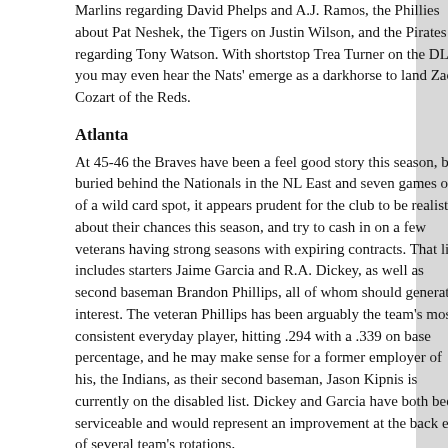Marlins regarding David Phelps and A.J. Ramos, the Phillies about Pat Neshek, the Tigers on Justin Wilson, and the Pirates regarding Tony Watson. With shortstop Trea Turner on the DL, you may even hear the Nats' emerge as a darkhorse to land Zack Cozart of the Reds.
Atlanta
At 45-46 the Braves have been a feel good story this season, but buried behind the Nationals in the NL East and seven games out of a wild card spot, it appears prudent for the club to be realistic about their chances this season, and try to cash in on a few veterans having strong seasons with expiring contracts. That list includes starters Jaime Garcia and R.A. Dickey, as well as second baseman Brandon Phillips, all of whom should generate interest. The veteran Phillips has been arguably the team's most consistent everyday player, hitting .294 with a .339 on base percentage, and he may make sense for a former employer of his, the Indians, as their second baseman, Jason Kipnis is currently on the disabled list. Dickey and Garcia have both been serviceable and would represent an improvement at the back end of several team's rotations,